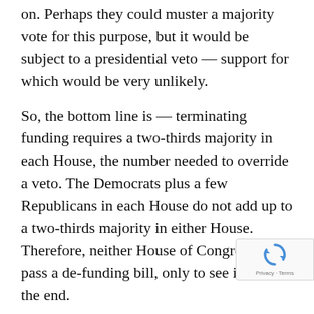on. Perhaps they could muster a majority vote for this purpose, but it would be subject to a presidential veto — support for which would be very unlikely.
So, the bottom line is — terminating funding requires a two-thirds majority in each House, the number needed to override a veto. The Democrats plus a few Republicans in each House do not add up to a two-thirds majority in either House. Therefore, neither House of Congress will pass a de-funding bill, only to see it fail in the end.
The “anti-war” Members of Congress in both Houses will give thundering speeches about the “failure” of the surge, and of the war. Members will praise the service and integrity of General Petraeus in the hearings while quibbling both his integrity and his competence in the questions they put to him.
The bottom line is this: There will be only be
[Figure (other): reCAPTCHA badge with spinning arrows icon and Privacy · Terms text]